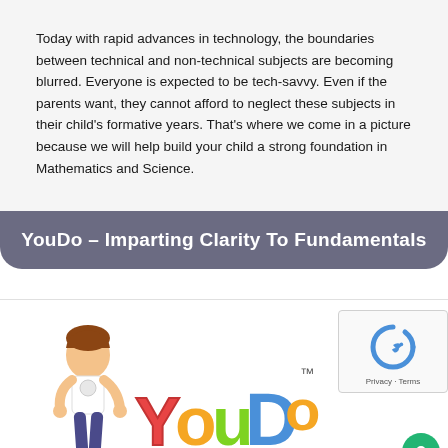Today with rapid advances in technology, the boundaries between technical and non-technical subjects are becoming blurred. Everyone is expected to be tech-savvy. Even if the parents want, they cannot afford to neglect these subjects in their child's formative years. That's where we come in a picture because we will help build your child a strong foundation in Mathematics and Science.
YouDo – Imparting Clarity To Fundamentals
[Figure (logo): YouDo logo with animated boy character leaning against colorful YouDo text with TM mark]